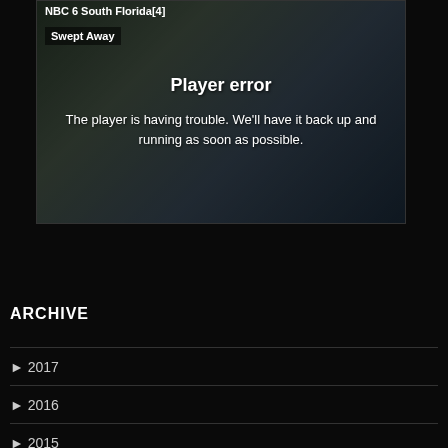[Figure (screenshot): Video player showing a player error overlay. Two women are visible in the background. The player displays 'NBC 6 South Florida[4]' as the channel, 'Swept Away' as the show title, with a 'Player error' message and text 'The player is having trouble. We'll have it back up and running as soon as possible.']
ARCHIVE
► 2017
► 2016
► 2015